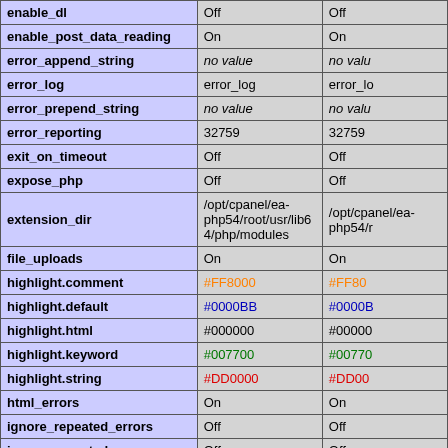| Directive | Local Value | Master Value |
| --- | --- | --- |
| enable_dl | Off | Off |
| enable_post_data_reading | On | On |
| error_append_string | no value | no value |
| error_log | error_log | error_log |
| error_prepend_string | no value | no value |
| error_reporting | 32759 | 32759 |
| exit_on_timeout | Off | Off |
| expose_php | Off | Off |
| extension_dir | /opt/cpanel/ea-php54/root/usr/lib64/php/modules | /opt/cpanel/ea-php54/r... |
| file_uploads | On | On |
| highlight.comment | #FF8000 | #FF8000 |
| highlight.default | #0000BB | #0000BB |
| highlight.html | #000000 | #000000 |
| highlight.keyword | #007700 | #007700 |
| highlight.string | #DD0000 | #DD0000 |
| html_errors | On | On |
| ignore_repeated_errors | Off | Off |
| ignore_repeated_source | Off | Off |
| ignore_user_abort | Off | Off |
| implicit_flush | Off | Off |
| include_path | .:/opt/cpanel/ea-php54/root/usr/share/php | .:/opt/cp... |